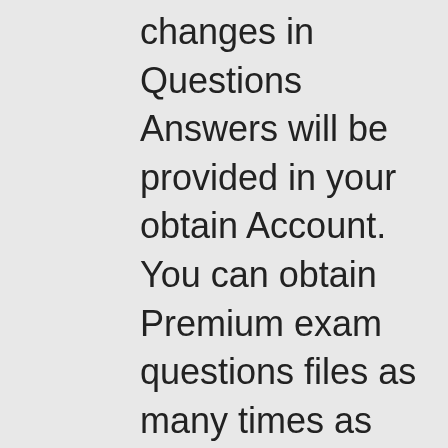changes in Questions Answers will be provided in your obtain Account. You can obtain Premium exam questions files as many times as you want, There is no limit.

Killexams.com has